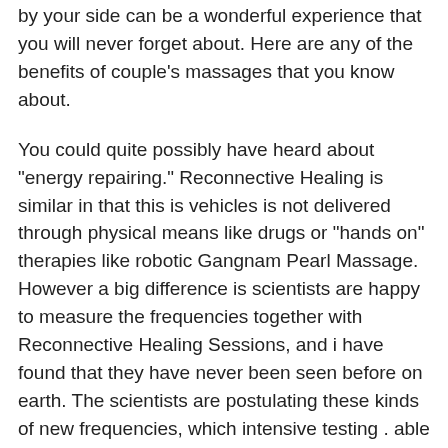by your side can be a wonderful experience that you will never forget about. Here are any of the benefits of couple's massages that you know about.
You could quite possibly have heard about "energy repairing." Reconnective Healing is similar in that this is vehicles is not delivered through physical means like drugs or "hands on" therapies like robotic Gangnam Pearl Massage. However a big difference is scientists are happy to measure the frequencies together with Reconnective Healing Sessions, and i have found that they have never been seen before on earth. The scientists are postulating these kinds of new frequencies, which intensive testing . able to measure for the first time, are accessible now a new result of recent shifts in